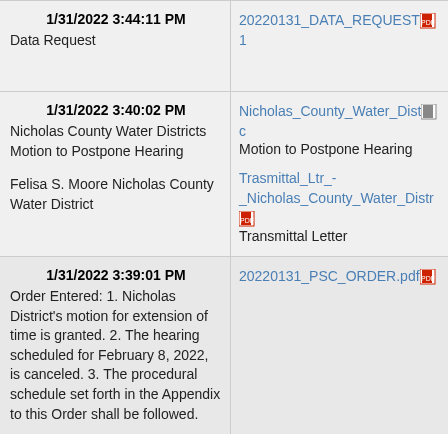| Date/Description | Files |
| --- | --- |
| 1/31/2022 3:44:11 PM
Data Request | 20220131_DATA_REQUEST[pdf icon]1
 |
| 1/31/2022 3:40:02 PM
Nicholas County Water Districts Motion to Postpone Hearing

Felisa S. Moore Nicholas County Water District | Nicholas_County_Water_Dist[icon]
Motion to Postpone Hearing

Trasmittal_Ltr_-_Nicholas_County_Water_Distr[pdf icon]
Transmittal Letter |
| 1/31/2022 3:39:01 PM
Order Entered: 1. Nicholas District's motion for extension of time is granted. 2. The hearing scheduled for February 8, 2022, is canceled. 3. The procedural schedule set forth in the Appendix to this Order shall be followed. | 20220131_PSC_ORDER.pdf[pdf icon] |